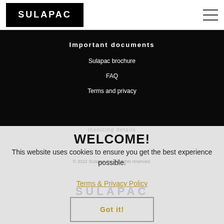SULAPAC
Important documents
Sulapac brochure
FAQ
Terms and privacy
Invoicing details
© 2022 Sulapac Oy. All rights reserved.
SULAPAC
WELCOME!
This website uses cookies to ensure you get the best experience possible.
Terms & Privacy Policy
Got it!